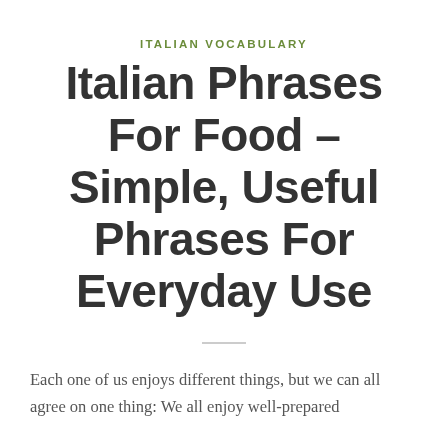ITALIAN VOCABULARY
Italian Phrases For Food – Simple, Useful Phrases For Everyday Use
Each one of us enjoys different things, but we can all agree on one thing: We all enjoy well-prepared